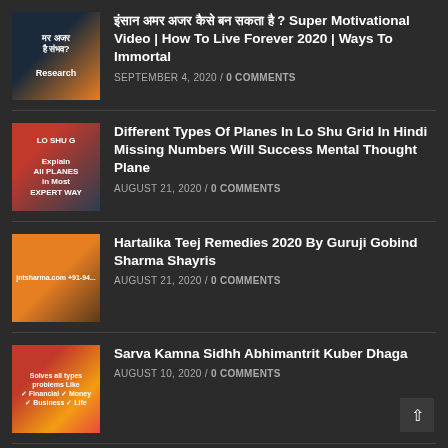इंसान अमर अजर कैसे बन सकता है ? Super Motivational Video | How To Live Forever 2020 | Ways To Immortal — SEPTEMBER 4, 2020 / 0 COMMENTS
Different Types Of Planes In Lo Shu Grid In Hindi Missing Numbers Will Success Mental Thought Plane — AUGUST 21, 2020 / 0 COMMENTS
Hartalika Teej Remedies 2020 By Guruji Gobind Sharma Shayris — AUGUST 21, 2020 / 0 COMMENTS
Sarva Kamna Sidhh Abhimantrit Kuber Dhaga — AUGUST 10, 2020 / 0 COMMENTS
Contact Info